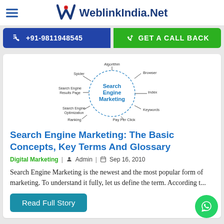WeblinkIndia.Net
+91-9811948545 | GET A CALL BACK
[Figure (infographic): Circular diagram showing Search Engine Marketing at center, surrounded by: Algorithm, Browser, Index, Keywords, Pay Per Click, Ranking, Search Engine Optimization, Search Engine Results Page, Spider]
Search Engine Marketing: The Basic Concepts, Key Terms And Glossary
Digital Marketing | Admin | Sep 16, 2010
Search Engine Marketing is the newest and the most popular form of marketing. To understand it fully, let us define the term. According t...
Read Full Story